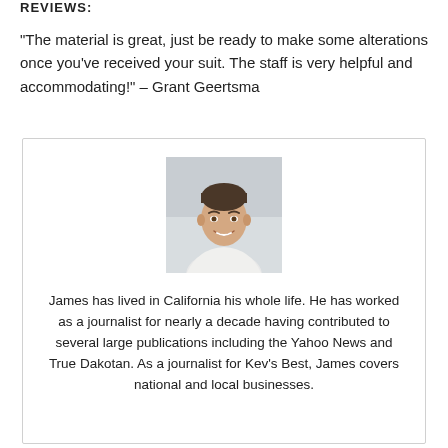"The material is great, just be ready to make some alterations once you've received your suit. The staff is very helpful and accommodating!" – Grant Geertsma
[Figure (photo): Headshot of a young man smiling, wearing a white shirt, with a light background.]
James has lived in California his whole life. He has worked as a journalist for nearly a decade having contributed to several large publications including the Yahoo News and True Dakotan. As a journalist for Kev's Best, James covers national and local businesses.